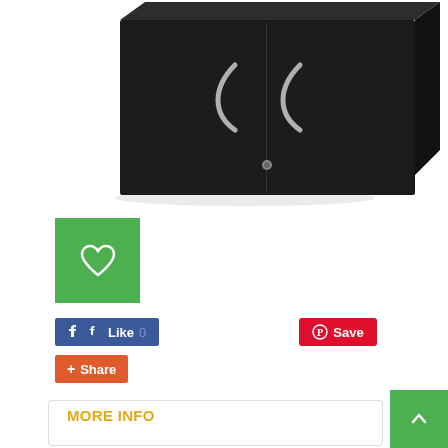[Figure (photo): Black two-door storage cabinet with chrome handles and a lock, photographed at an angle on white background.]
[Figure (other): Green square button with white heart/wishlist icon]
[Figure (other): Social sharing buttons: Facebook Like 0, Pinterest Save, Google+ Share]
MORE INFO
ADD YOUR REVIEW
COMMENTS
Commercial-quality cabinet is